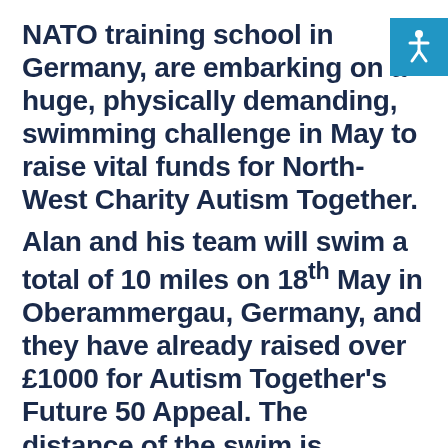NATO training school in Germany, are embarking on a huge, physically demanding, swimming challenge in May to raise vital funds for North-West Charity Autism Together.
[Figure (illustration): Blue square accessibility icon with white wheelchair/person symbol]
Alan and his team will swim a total of 10 miles on 18th May in Oberammergau, Germany, and they have already raised over £1000 for Autism Together's Future 50 Appeal. The distance of the swim is equivalent to running